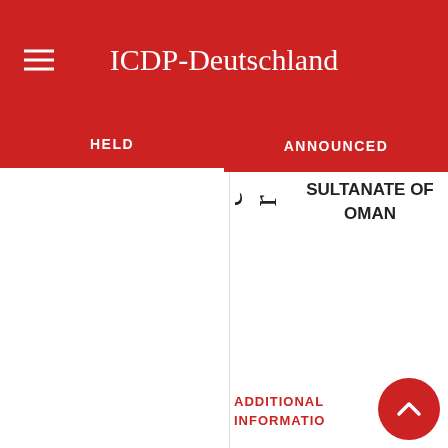ICDP-Deutschland
HELD | ANNOUNCED
ptember, 2012
SULTANATE OF OMAN
ADDITIONAL INFORMATION